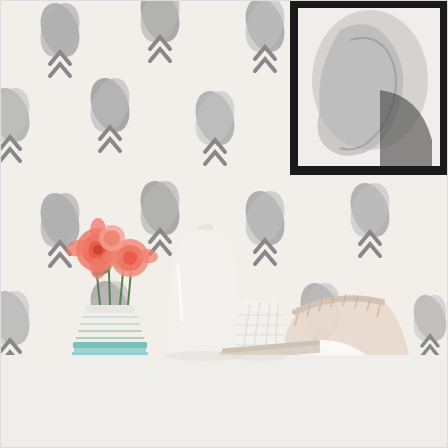[Figure (photo): Interior room photo showing a white side table with pink ranunculus flowers in a striped pot, a white ceramic vase, a white diamond-textured candle holder with copper-colored base, a book, and a blush pink upholstered chair with a white pillow. The wall behind features a Scandinavian-style tulip/leaf repeat wallpaper pattern in grey and white. In the upper right corner, a black-framed artwork with a grey brushstroke/animal print is partially visible.]